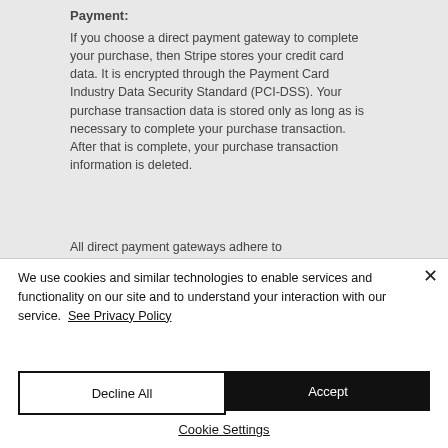Payment:
If you choose a direct payment gateway to complete your purchase, then Stripe stores your credit card data. It is encrypted through the Payment Card Industry Data Security Standard (PCI-DSS). Your purchase transaction data is stored only as long as is necessary to complete your purchase transaction. After that is complete, your purchase transaction information is deleted.
All direct payment gateways adhere to
We use cookies and similar technologies to enable services and functionality on our site and to understand your interaction with our service.  See Privacy Policy
Decline All
Accept
Cookie Settings